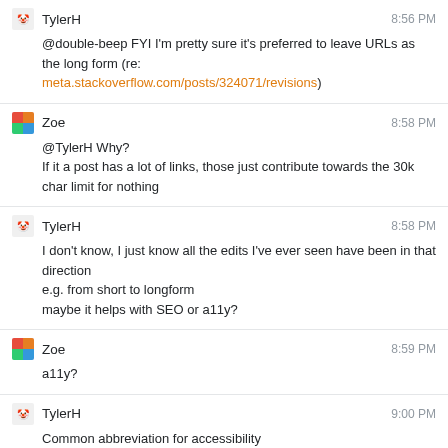TylerH 8:56 PM @double-beep FYI I'm pretty sure it's preferred to leave URLs as the long form (re: meta.stackoverflow.com/posts/324071/revisions)
Zoe 8:58 PM @TylerH Why? If it a post has a lot of links, those just contribute towards the 30k char limit for nothing
TylerH 8:58 PM I don't know, I just know all the edits I've ever seen have been in that direction e.g. from short to longform maybe it helps with SEO or a11y?
Zoe 8:59 PM a11y?
TylerH 9:00 PM Common abbreviation for accessibility
Zoe 9:00 PM oh
Stephen Kennedy 9:22 PM → 4 messages moved to SOCVR Request Graveyard
halfer 9:25 PM